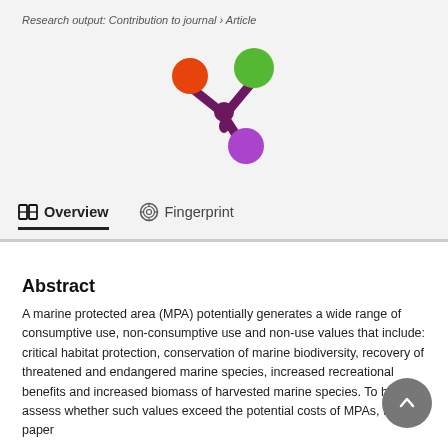Research output: Contribution to journal › Article
[Figure (logo): Altmetric/Pure logo: colorful splat shape with orange, green, and purple circles on dark purple connector]
Overview   Fingerprint
Abstract
A marine protected area (MPA) potentially generates a wide range of consumptive use, non-consumptive use and non-use values that include: critical habitat protection, conservation of marine biodiversity, recovery of threatened and endangered marine species, increased recreational benefits and increased biomass of harvested marine species. To help assess whether such values exceed the potential costs of MPAs, this paper